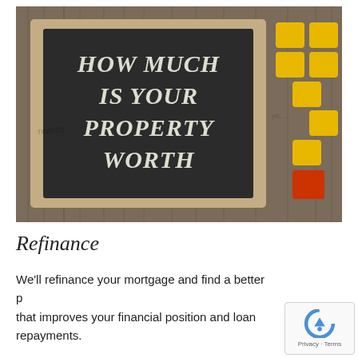[Figure (photo): A chalkboard sign on a wooden background reading 'HOW MUCH IS YOUR PROPERTY WORTH' with yellow and red toy blocks arranged to the right side.]
Refinance
We'll refinance your mortgage and find a better p that improves your financial position and loan repayments.